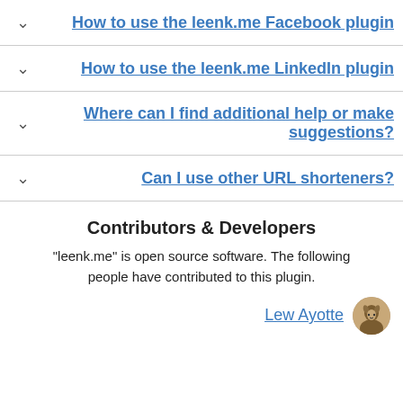How to use the leenk.me Facebook plugin
How to use the leenk.me LinkedIn plugin
Where can I find additional help or make suggestions?
Can I use other URL shorteners?
Contributors & Developers
"leenk.me" is open source software. The following "people have contributed to this plugin.
Lew Ayotte